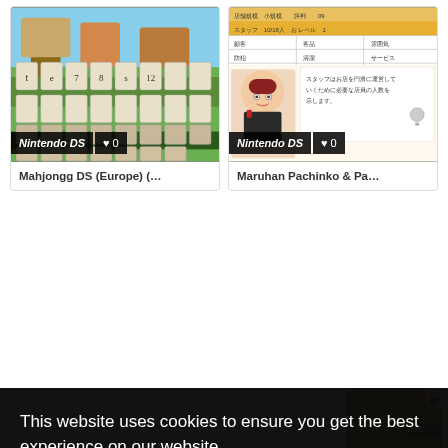[Figure (screenshot): Nintendo DS game card for Mahjongg DS (Europe) showing mahjong tiles on a tropical background]
Nintendo DS
0
Mahjongg DS (Europe) (...
[Figure (screenshot): Nintendo DS game card for Maruhan Pachinko & Pa... showing a manga-style character in a store management screen with Japanese text]
Nintendo DS
0
Maruhan Pachinko & Pa...
This website uses cookies to ensure you get the best experience on our website.
Learn more
Got it!